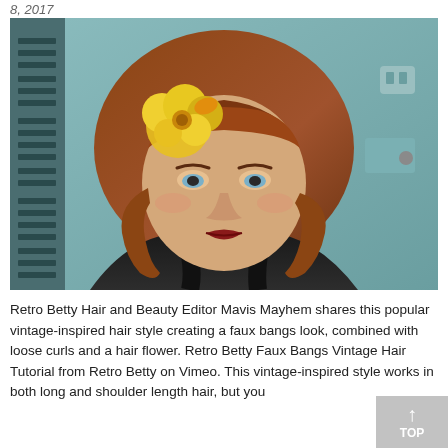8, 2017
[Figure (photo): A woman with vintage-style hair, featuring rolled bangs and loose curls, wearing a yellow rose hair flower and a black top, photographed in a bathroom setting.]
Retro Betty Hair and Beauty Editor Mavis Mayhem shares this popular vintage-inspired hair style creating a faux bangs look, combined with loose curls and a hair flower. Retro Betty Faux Bangs Vintage Hair Tutorial from Retro Betty on Vimeo. This vintage-inspired style works in both long and shoulder length hair, but you